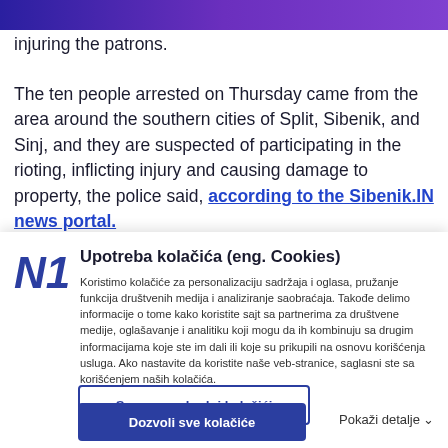injuring the patrons.
The ten people arrested on Thursday came from the area around the southern cities of Split, Sibenik, and Sinj, and they are suspected of participating in the rioting, inflicting injury and causing damage to property, the police said, according to the Sibenik.IN news portal.
Upotreba kolačića (eng. Cookies)
Koristimo kolačiće za personalizaciju sadržaja i oglasa, pružanje funkcija društvenih medija i analiziranje saobraćaja. Takođe delimo informacije o tome kako koristite sajt sa partnerima za društvene medije, oglašavanje i analitiku koji mogu da ih kombinuju sa drugim informacijama koje ste im dali ili koje su prikupili na osnovu korišćenja usluga. Ako nastavite da koristite naše veb-stranice, saglasni ste sa korišćenjem naših kolačića.
Samo neophodni kolačići
Dozvoli sve kolačiće
Pokaži detalje